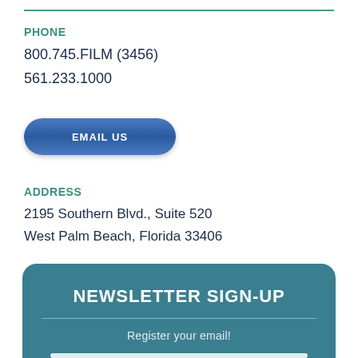PHONE
800.745.FILM (3456)
561.233.1000
EMAIL US
ADDRESS
2195 Southern Blvd., Suite 520
West Palm Beach, Florida 33406
NEWSLETTER SIGN-UP
Register your email!